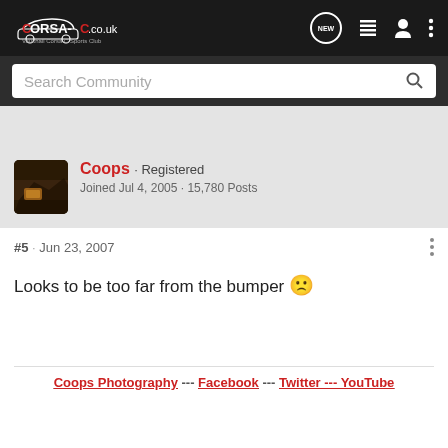CORSA-C.co.uk — Vauxhall Corsa C Sports Club
Search Community
[Figure (photo): User avatar photo of Coops — dark orange/brown toned car interior or exterior photo]
Coops · Registered
Joined Jul 4, 2005 · 15,780 Posts
#5 · Jun 23, 2007
Looks to be too far from the bumper 🙁
Coops Photography --- Facebook --- Twitter --- YouTube